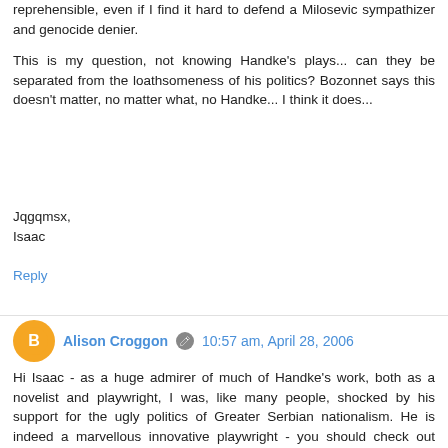reprehensible, even if I find it hard to defend a Milosevic sympathizer and genocide denier.
This is my question, not knowing Handke's plays... can they be separated from the loathsomeness of his politics? Bozonnet says this doesn't matter, no matter what, no Handke... I think it does...
Jqgqmsx,
Isaac
Reply
Alison Croggon  10:57 am, April 28, 2006
Hi Isaac - as a huge admirer of much of Handke's work, both as a novelist and playwright, I was, like many people, shocked by his support for the ugly politics of Greater Serbian nationalism. He is indeed a marvellous innovative playwright - you should check out Offending the Audience, My Foot, My Tutor and Kaspar , all plays written around the 70s. (WS Sebald has a great essay on the plays and how they examine language in a posthumous collection). And